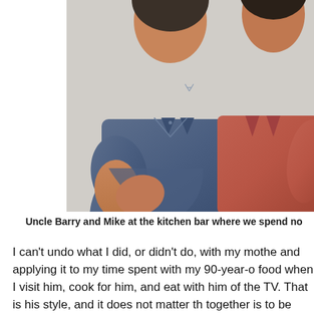[Figure (photo): Two men seated side by side at a kitchen bar. The man on the left wears a blue/navy polo shirt, and the man on the right wears a red/salmon polo shirt. Both appear to be older men.]
Uncle Barry and Mike at the kitchen bar where we spend no...
I can't undo what I did, or didn't do, with my mothe and applying it to my time spent with my 90-year-o food when I visit him, cook for him, and eat with him of the TV. That is his style, and it does not matter th together is to be together. And it isn't really about t more by being with him than I could ever be by wha really trying to "make up" for what I did not do for m guilty knowing that I indeed learned a valuable les